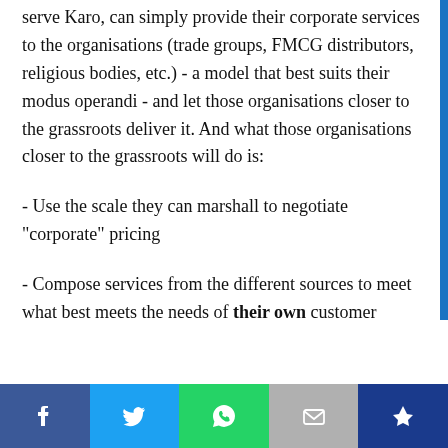serve Karo, can simply provide their corporate services to the organisations (trade groups, FMCG distributors, religious bodies, etc.) - a model that best suits their modus operandi - and let those organisations closer to the grassroots deliver it. And what those organisations closer to the grassroots will do is:
- Use the scale they can marshall to negotiate "corporate" pricing
- Compose services from the different sources to meet what best meets the needs of their own customer